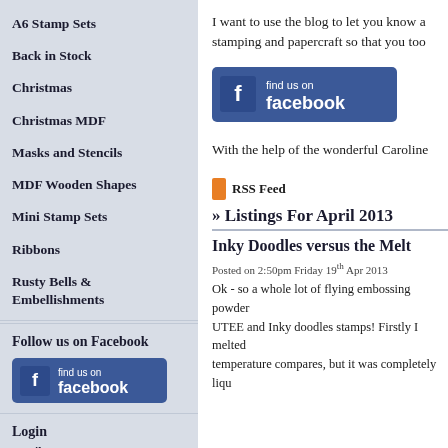A6 Stamp Sets
Back in Stock
Christmas
Christmas MDF
Masks and Stencils
MDF Wooden Shapes
Mini Stamp Sets
Ribbons
Rusty Bells & Embellishments
Follow us on Facebook
[Figure (logo): Find us on Facebook button (left sidebar)]
Login
Email or Username:
I want to use the blog to let you know a... stamping and papercraft so that you too...
[Figure (logo): Find us on Facebook button (main content area)]
With the help of the wonderful Caroline...
RSS Feed
» Listings For April 2013
Inky Doodles versus the Melt...
Posted on 2:50pm Friday 19th Apr 2013
Ok - so a whole lot of flying embossing powder... UTEE and Inky doodles stamps! Firstly I melted... temperature compares, but it was completely liqu...